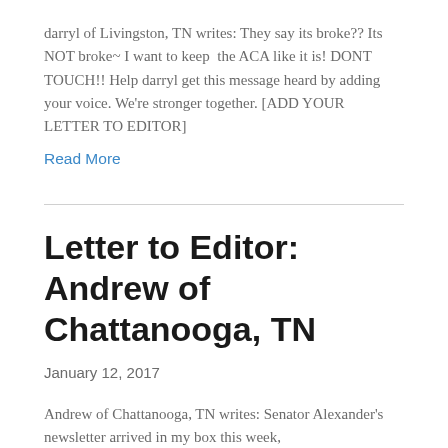darryl of Livingston, TN writes: They say its broke?? Its NOT broke~ I want to keep the ACA like it is! DONT TOUCH!! Help darryl get this message heard by adding your voice. We're stronger together. [ADD YOUR LETTER TO EDITOR]
Read More
Letter to Editor: Andrew of Chattanooga, TN
January 12, 2017
Andrew of Chattanooga, TN writes: Senator Alexander's newsletter arrived in my box this week,